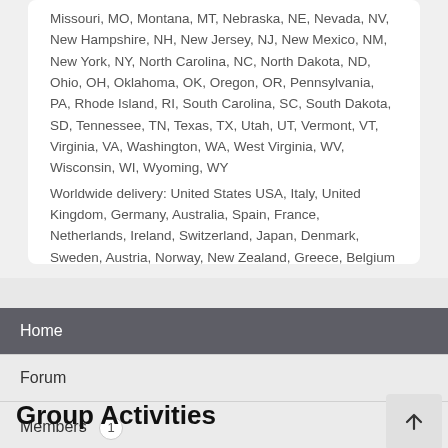Missouri, MO, Montana, MT, Nebraska, NE, Nevada, NV, New Hampshire, NH, New Jersey, NJ, New Mexico, NM, New York, NY, North Carolina, NC, North Dakota, ND, Ohio, OH, Oklahoma, OK, Oregon, OR, Pennsylvania, PA, Rhode Island, RI, South Carolina, SC, South Dakota, SD, Tennessee, TN, Texas, TX, Utah, UT, Vermont, VT, Virginia, VA, Washington, WA, West Virginia, WV, Wisconsin, WI, Wyoming, WY
Worldwide delivery: United States USA, Italy, United Kingdom, Germany, Australia, Spain, France, Netherlands, Ireland, Switzerland, Japan, Denmark, Sweden, Austria, Norway, New Zealand, Greece, Belgium
Home
Forum
Members 1
Group Activities